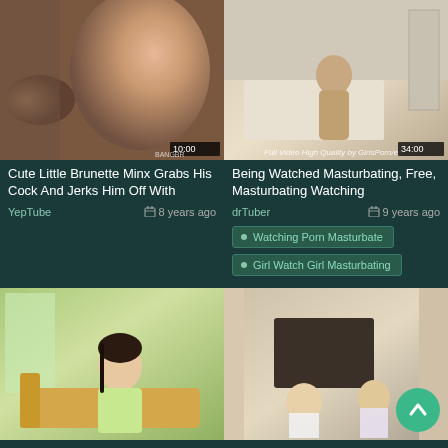[Figure (screenshot): Video thumbnail - brunette woman]
Cute Little Brunette Minx Grabs His Cock And Jerks Him Off With
YepTube  8 years ago
[Figure (screenshot): Video thumbnail - person in room]
Being Watched Masturbating, Free, Masturbating Watching
drTuber  9 years ago
Watching Porn Masturbate
Girl Watch Girl Masturbating
[Figure (screenshot): Video thumbnail - woman in yellow]
[Figure (screenshot): Video thumbnail - two women]